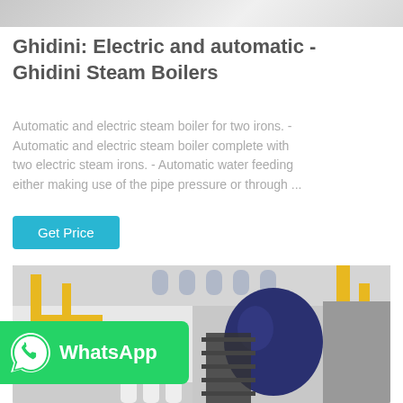[Figure (photo): Top portion of a product/equipment image, partially cropped at top of page]
Ghidini: Electric and automatic - Ghidini Steam Boilers
Automatic and electric steam boiler for two irons. - Automatic and electric steam boiler complete with two electric steam irons. - Automatic water feeding either making use of the pipe pressure or through ...
[Figure (other): Get Price button - cyan/teal colored call-to-action button]
[Figure (photo): Industrial boiler room with yellow pipes, blue cylindrical boiler, stairs and industrial equipment]
[Figure (logo): WhatsApp badge with phone icon and WhatsApp text on green background]